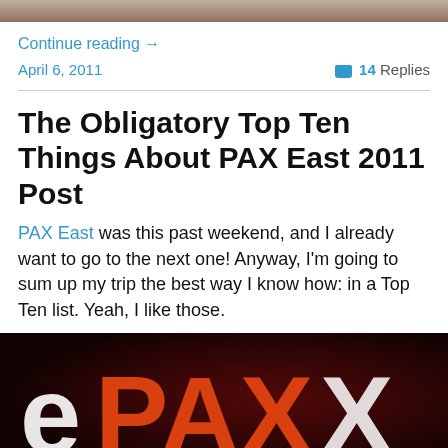[Figure (photo): Top portion of a photo, partially visible at the top of the page]
Continue reading →
April 6, 2011    💬 14 Replies
The Obligatory Top Ten Things About PAX East 2011 Post
PAX East was this past weekend, and I already want to go to the next one! Anyway, I'm going to sum up my trip the best way I know how: in a Top Ten list. Yeah, I like those.
[Figure (photo): PAX East logo on dark red/black background — large orange and white PAX letters visible]